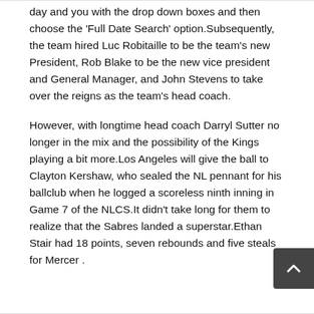day and year with the drop down boxes and then choose the 'Full Date Search' option.Subsequently, the team hired Luc Robitaille to be the team's new President, Rob Blake to be the new vice president and General Manager, and John Stevens to take over the reigns as the team's head coach.
However, with longtime head coach Darryl Sutter no longer in the mix and the possibility of the Kings playing a bit more.Los Angeles will give the ball to Clayton Kershaw, who sealed the NL pennant for his ballclub when he logged a scoreless ninth inning in Game 7 of the NLCS.It didn't take long for them to realize that the Sabres landed a superstar.Ethan Stair had 18 points, seven rebounds and five steals for Mercer .